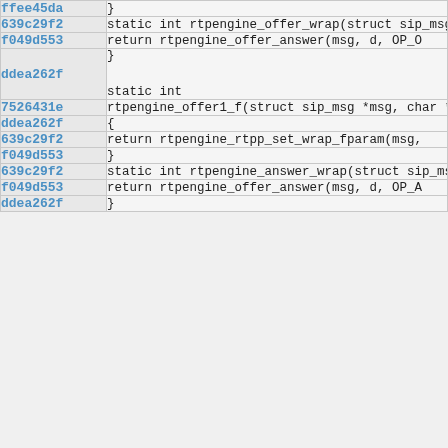| hash | code |
| --- | --- |
| ffee45da | } |
| 639c29f2 | static int rtpengine_offer_wrap(struct sip_msg *m |
| f049d553 |         return rtpengine_offer_answer(msg, d, OP_O |
| ddea262f | }

static int |
| 7526431e | rtpengine_offer1_f(struct sip_msg *msg, char *str |
| ddea262f | { |
| 639c29f2 |         return rtpengine_rtpp_set_wrap_fparam(msg, |
| f049d553 | } |
| 639c29f2 | static int rtpengine_answer_wrap(struct sip_msg * |
| f049d553 |         return rtpengine_offer_answer(msg, d, OP_A |
| ddea262f | } |